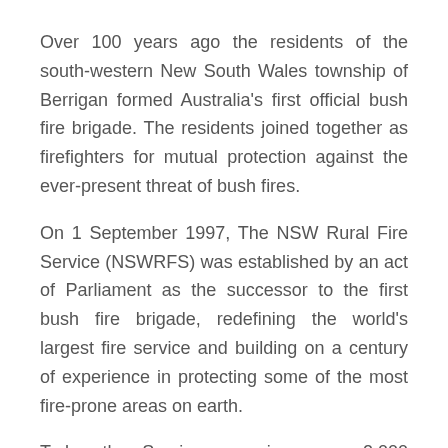Over 100 years ago the residents of the south-western New South Wales township of Berrigan formed Australia's first official bush fire brigade. The residents joined together as firefighters for mutual protection against the ever-present threat of bush fires.
On 1 September 1997, The NSW Rural Fire Service (NSWRFS) was established by an act of Parliament as the successor to the first bush fire brigade, redefining the world's largest fire service and building on a century of experience in protecting some of the most fire-prone areas on earth.
Today the Service comprises over 2,000 volunteer rural fire brigades with a total membership of just over 70,000. In addition, salaried staff are employed to manage the day to day operations of the Service at